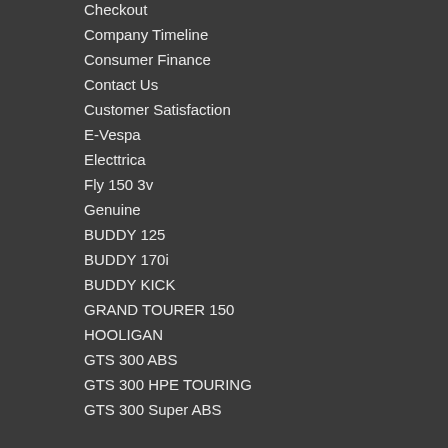Checkout
Company Timeline
Consumer Finance
Contact Us
Customer Satisfaction
E-Vespa
Electtrica
Fly 150 3v
Genuine
BUDDY 125
BUDDY 170i
BUDDY KICK
GRAND TOURER 150
HOOLIGAN
GTS 300 ABS
GTS 300 HPE TOURING
GTS 300 Super ABS